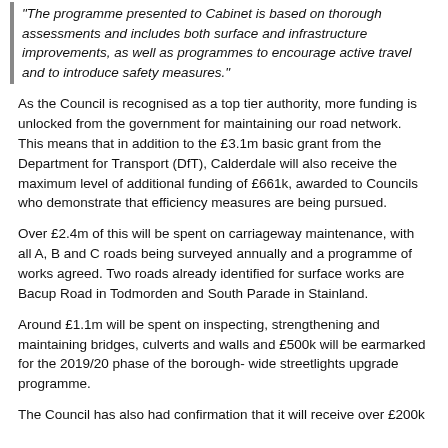"The programme presented to Cabinet is based on thorough assessments and includes both surface and infrastructure improvements, as well as programmes to encourage active travel and to introduce safety measures."
As the Council is recognised as a top tier authority, more funding is unlocked from the government for maintaining our road network. This means that in addition to the £3.1m basic grant from the Department for Transport (DfT), Calderdale will also receive the maximum level of additional funding of £661k, awarded to Councils who demonstrate that efficiency measures are being pursued.
Over £2.4m of this will be spent on carriageway maintenance, with all A, B and C roads being surveyed annually and a programme of works agreed. Two roads already identified for surface works are Bacup Road in Todmorden and South Parade in Stainland.
Around £1.1m will be spent on inspecting, strengthening and maintaining bridges, culverts and walls and £500k will be earmarked for the 2019/20 phase of the borough- wide streetlights upgrade programme.
The Council has also had confirmation that it will receive over £200k